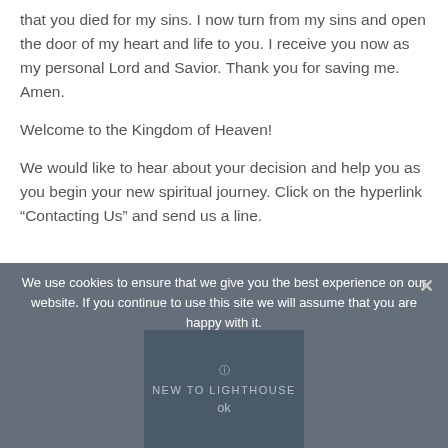that you died for my sins. I now turn from my sins and open the door of my heart and life to you. I receive you now as my personal Lord and Savior. Thank you for saving me. Amen.
Welcome to the Kingdom of Heaven!
We would like to hear about your decision and help you as you begin your new spiritual journey. Click on the hyperlink “Contacting Us” and send us a line.
We use cookies to ensure that we give you the best experience on our website. If you continue to use this site we will assume that you are happy with it.
[Figure (screenshot): Cookie consent overlay bar with dark semi-transparent background, close X button, cookie notice text, and a NEW TO LIGHTHOUSE modal box partially visible at the bottom.]